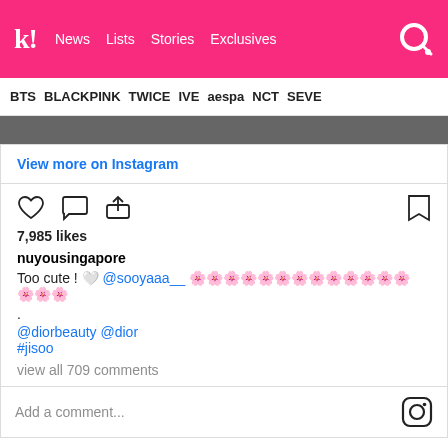k! News  Lists  Stories  Exclusives
BTS  BLACKPINK  TWICE  IVE  aespa  NCT  SEVE
[Figure (photo): Dark/grey image strip at top of Instagram embed]
View more on Instagram
7,985 likes
nuyousingapore
Too cute ! 🤍 @sooyaaa__ 🌸🌸🌸🌸🌸🌸🌸🌸🌸🌸
🌸🌸🌸
.
@diorbeauty @dior
#jisoo
view all 709 comments
Add a comment...